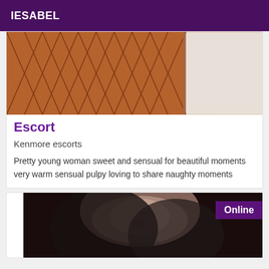IESABEL
[Figure (photo): Close-up photo of person's legs wearing fishnet stockings]
Escort
Kenmore escorts
Pretty young woman sweet and sensual for beautiful moments very warm sensual pulpy loving to share naughty moments
[Figure (photo): Close-up portrait photo of young woman with dark hair and pink lips, with Online badge in top right corner]